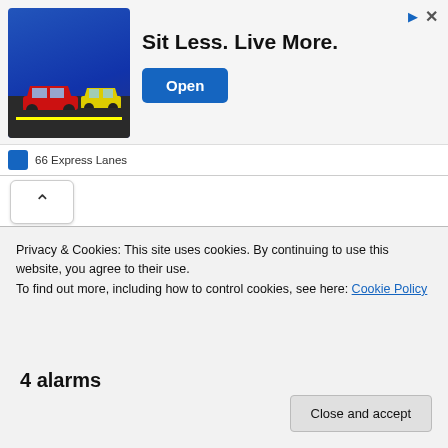[Figure (other): Advertisement banner: 66 Express Lanes - 'Sit Less. Live More.' with cars graphic and Open button]
Lafayette County Sheriff's Dept. Crime Report, Wednesday, August
Privacy & Cookies: This site uses cookies. By continuing to use this website, you agree to their use.
To find out more, including how to control cookies, see here: Cookie Policy
4 alarms